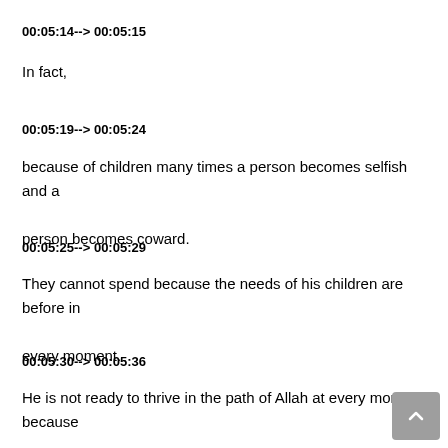00:05:14--> 00:05:15
In fact,
00:05:19--> 00:05:24
because of children many times a person becomes selfish and a person becomes coward.
00:05:25--> 00:05:29
They cannot spend because the needs of his children are before in every moment.
00:05:30--> 00:05:36
He is not ready to thrive in the path of Allah at every moment because of the nature of the needs of his children.